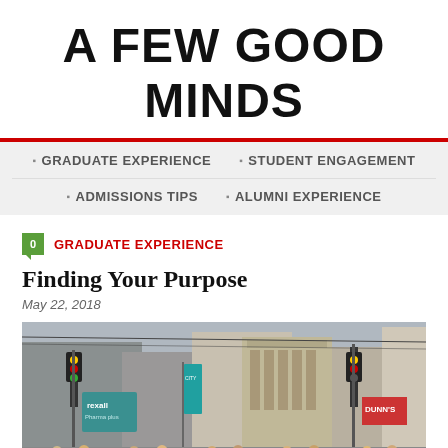A FEW GOOD MINDS
GRADUATE EXPERIENCE · STUDENT ENGAGEMENT · ADMISSIONS TIPS · ALUMNI EXPERIENCE
GRADUATE EXPERIENCE
Finding Your Purpose
May 22, 2018
[Figure (photo): Group of students posing together on a busy urban street with traffic lights, trolley wires, and city buildings including a classical stone building. Signs visible include 'Rexall' pharmacy and 'Dunn's'.]